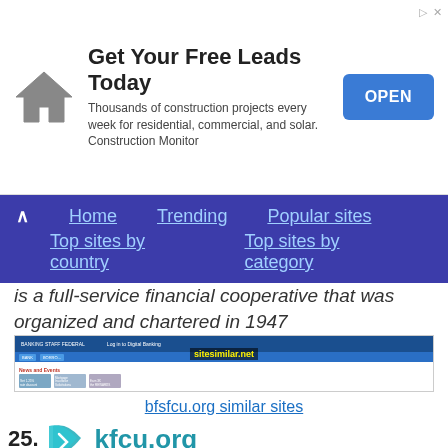[Figure (screenshot): Advertisement banner: 'Get Your Free Leads Today' with house icon, description text, and OPEN button]
Home  Trending  Popular sites  Top sites by country  Top sites by category
is a full-service financial cooperative that was organized and chartered in 1947
[Figure (screenshot): Screenshot of bfsfcu.org website showing Credit Union homepage with Auto Loans (1.990%), Mortgages (2.723%), Beyond Visa Signature (0.00%), Annual Member Survey sections, News and Events with three image articles, watermark 'sitesimilar.net']
bfsfcu.org similar sites
25.  kfcu.org